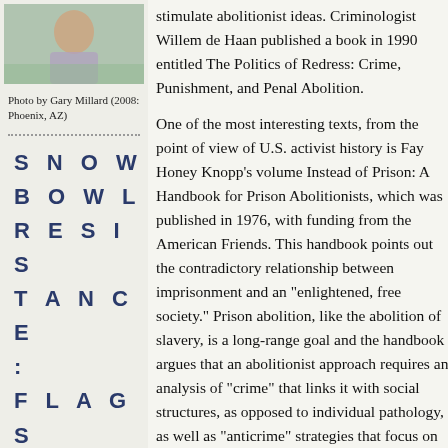[Figure (photo): Portrait photo of a woman]
Photo by Gary Millard (2008: Phoenix, AZ)
SNOW
BOWL
RESIS
TANCE
:
FLAGS
TAFF
Snowbowl Resistance: (link)
stimulate abolitionist ideas. Criminologist Willem de Haan published a book in 1990 entitled The Politics of Redress: Crime, Punishment, and Penal Abolition.
One of the most interesting texts, from the point of view of U.S. activist history is Fay Honey Knopp's volume Instead of Prison: A Handbook for Prison Abolitionists, which was published in 1976, with funding from the American Friends. This handbook points out the contradictory relationship between imprisonment and an "enlightened, free society." Prison abolition, like the abolition of slavery, is a long-range goal and the handbook argues that an abolitionist approach requires an analysis of "crime" that links it with social structures, as opposed to individual pathology, as well as "anticrime" strategies that focus on the provision of social resources